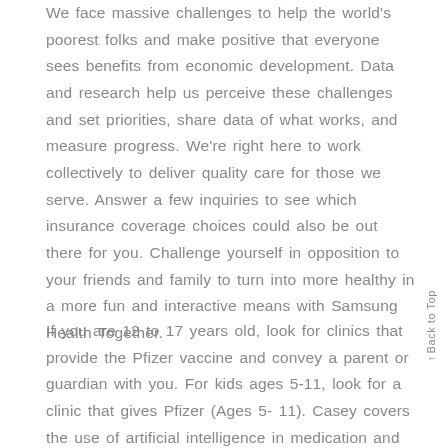We face massive challenges to help the world's poorest folks and make positive that everyone sees benefits from economic development. Data and research help us perceive these challenges and set priorities, share data of what works, and measure progress. We're right here to work collectively to deliver quality care for those we serve. Answer a few inquiries to see which insurance coverage choices could also be out there for you. Challenge yourself in opposition to your friends and family to turn into more healthy in a more fun and interactive means with Samsung Health Together.

If you are 12 to 17 years old, look for clinics that provide the Pfizer vaccine and convey a parent or guardian with you. For kids ages 5-11, look for a clinic that gives Pfizer (Ages 5-11). Casey covers the use of artificial intelligence in medication and its underlying questions of safety, fairness and privateness. One of the most effective things you can do to your health care, and health in store for you...